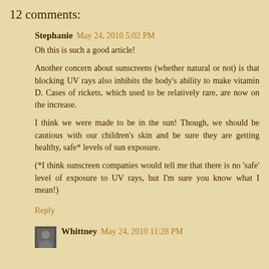12 comments:
Stephanie May 24, 2010 5:02 PM
Oh this is such a good article!
Another concern about sunscreens (whether natural or not) is that blocking UV rays also inhibits the body's ability to make vitamin D. Cases of rickets, which used to be relatively rare, are now on the increase.
I think we were made to be in the sun! Though, we should be cautious with our children's skin and be sure they are getting healthy, safe* levels of sun exposure.
(*I think sunscreen companies would tell me that there is no 'safe' level of exposure to UV rays, but I'm sure you know what I mean!)
Reply
Whittney May 24, 2010 11:28 PM